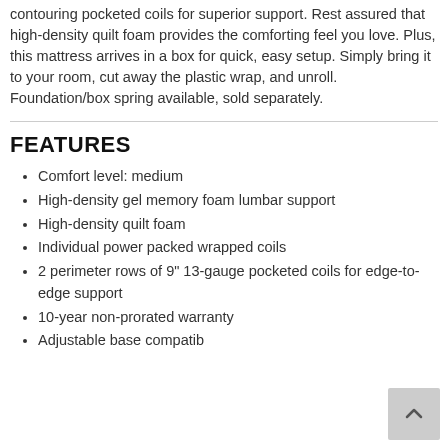contouring pocketed coils for superior support. Rest assured that high-density quilt foam provides the comforting feel you love. Plus, this mattress arrives in a box for quick, easy setup. Simply bring it to your room, cut away the plastic wrap, and unroll. Foundation/box spring available, sold separately.
FEATURES
Comfort level: medium
High-density gel memory foam lumbar support
High-density quilt foam
Individual power packed wrapped coils
2 perimeter rows of 9" 13-gauge pocketed coils for edge-to-edge support
10-year non-prorated warranty
Adjustable base compatible